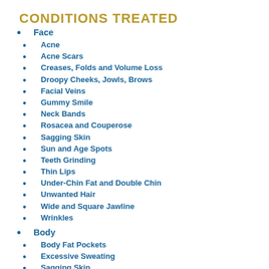CONDITIONS TREATED
Face
Acne
Acne Scars
Creases, Folds and Volume Loss
Droopy Cheeks, Jowls, Brows
Facial Veins
Gummy Smile
Neck Bands
Rosacea and Couperose
Sagging Skin
Sun and Age Spots
Teeth Grinding
Thin Lips
Under-Chin Fat and Double Chin
Unwanted Hair
Wide and Square Jawline
Wrinkles
Body
Body Fat Pockets
Excessive Sweating
Sagging Skin
Spider and Varicose Veins
Unwanted Hair
Hand